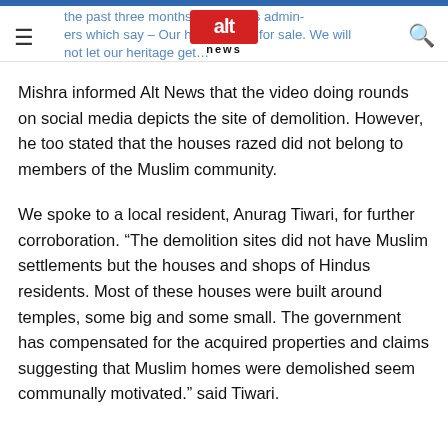the past three months. The houses admin-ers which say – Our house is not for sale. We will not let our heritage get...
Mishra informed Alt News that the video doing rounds on social media depicts the site of demolition. However, he too stated that the houses razed did not belong to members of the Muslim community.
We spoke to a local resident, Anurag Tiwari, for further corroboration. “The demolition sites did not have Muslim settlements but the houses and shops of Hindus residents. Most of these houses were built around temples, some big and some small. The government has compensated for the acquired properties and claims suggesting that Muslim homes were demolished seem communally motivated.” said Tiwari.